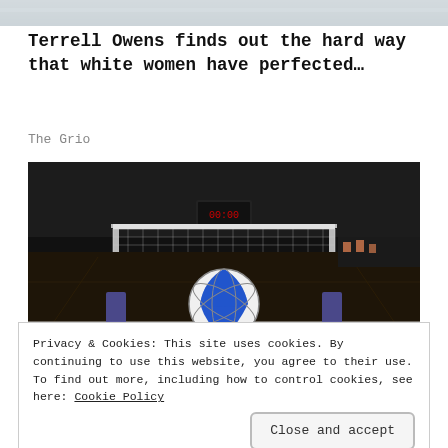[Figure (photo): Partial top strip of an image, appears to be a sports-related photo, cropped at the top of the page.]
Terrell Owens finds out the hard way that white women have perfected…
The Grio
[Figure (photo): A volleyball resting on an indoor court floor in front of a volleyball net, with a dark arena background and spectators visible in the distance.]
Privacy & Cookies: This site uses cookies. By continuing to use this website, you agree to their use.
To find out more, including how to control cookies, see here: Cookie Policy
Close and accept
The Grio